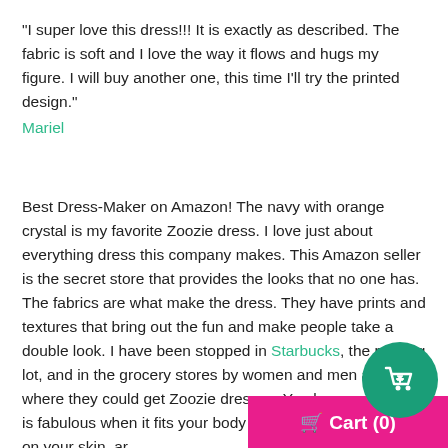"I super love this dress!!! It is exactly as described. The fabric is soft and I love the way it flows and hugs my figure. I will buy another one, this time I'll try the printed design."
Mariel
Best Dress-Maker on Amazon! The navy with orange crystal is my favorite Zoozie dress. I love just about everything dress this company makes. This Amazon seller is the secret store that provides the looks that no one has. The fabrics are what make the dress. They have prints and textures that bring out the fun and make people take a double look. I have been stopped in Starbucks, the parking lot, and in the grocery stores by women and men asking where they could get Zoozie dresses. You know something is fabulous when it fits your body like a glove, feels great on your skin, and you get of the best complements you have ever received.